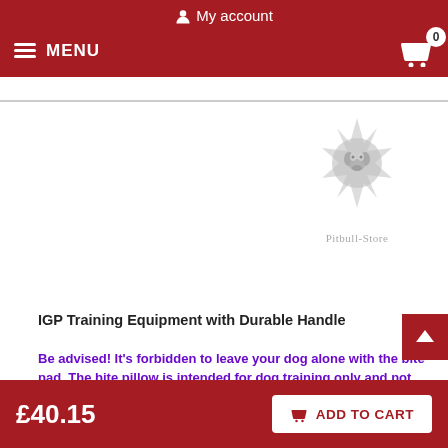My account
MENU  [cart] 0
[Figure (logo): Pitbull-Store logo: a pitbull face inside a spiky sun/star circle, grey watermark style, with text 'Pitbull-Store' below]
IGP Training Equipment with Durable Handle
Be advised! It's forbidden to leave your dog alone with the bite pad. The bite pillow is intended for dog training only and not for chewing. Don't let the dog to bite the handle. It serves to keep the bite tug. Hold the bite tug with handle and give the dog to bite a stuffed part.
Main qualities of these DogApplication of this Dog Bite
£40.15   ADD TO CART